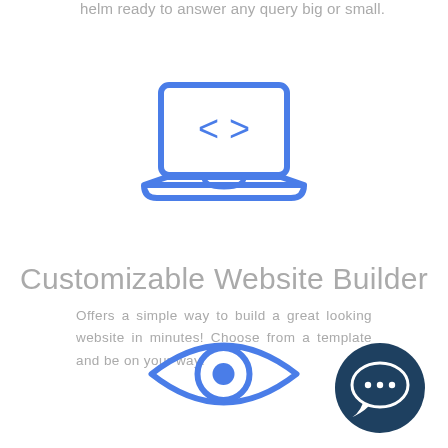helm ready to answer any query big or small.
[Figure (illustration): Laptop icon with code brackets (< >) on screen, drawn in blue outline style]
Customizable Website Builder
Offers a simple way to build a great looking website in minutes! Choose from a template and be on your way!
[Figure (illustration): Eye icon drawn in blue outline style]
[Figure (illustration): Dark teal circle with chat bubble / ellipsis icon in white]